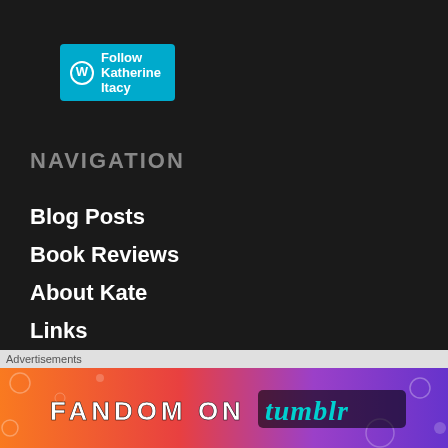[Figure (screenshot): WordPress follow button: cyan/teal button with WordPress icon and text 'Follow Katherine Itacy']
NAVIGATION
Blog Posts
Book Reviews
About Kate
Links
Contact
[Figure (screenshot): Search bar input field with placeholder text 'Search']
[Figure (screenshot): Close/X circular button]
Advertisements
[Figure (illustration): Fandom on Tumblr advertisement banner with colorful gradient background (orange to purple) and text 'FANDOM ON tumblr']